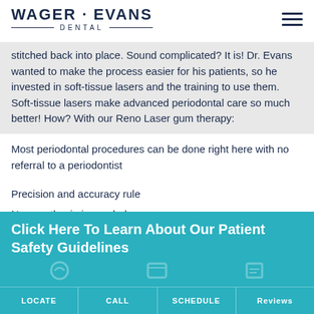WAGER · EVANS DENTAL
stitched back into place. Sound complicated? It is! Dr. Evans wanted to make the process easier for his patients, so he invested in soft-tissue lasers and the training to use them. Soft-tissue lasers make advanced periodontal care so much better! How? With our Reno Laser gum therapy:
Most periodontal procedures can be done right here with no referral to a periodontist
Precision and accuracy rule
No anesthesia is needed
Click Here To Learn About Our Patient Safety Guidelines
LOCATE | CALL | SCHEDULE | Reviews